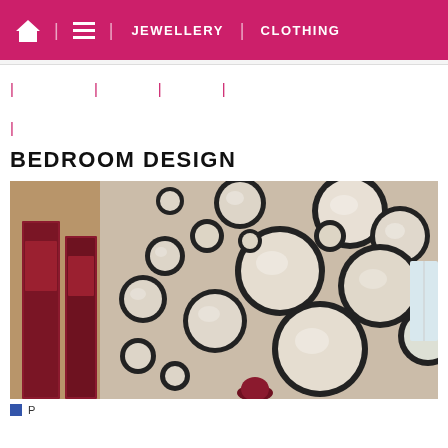Home | Menu | JEWELLERY | CLOTHING
| | | |
|
BEDROOM DESIGN
[Figure (photo): Wall decorated with multiple circular mirrors of varying sizes with dark frames, arranged in a cluster pattern. On the left side, there are two tall red/maroon rectangular artworks leaning against the wall.]
P...